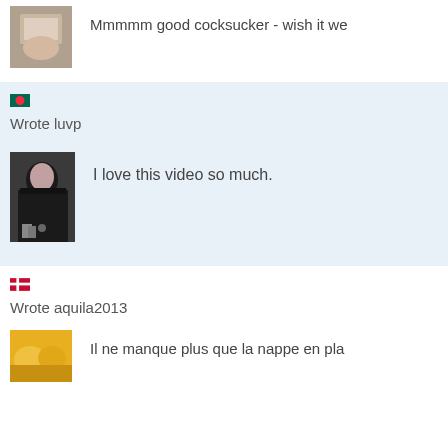Mmmmm good cocksucker - wish it we...
[Figure (photo): User avatar thumbnail top]
Wrote luvp
[Figure (photo): User profile photo of person with dark hair]
I love this video so much.
Wrote aquila2013
[Figure (photo): User avatar thumbnail bottom - food image]
Il ne manque plus que la nappe en pla...